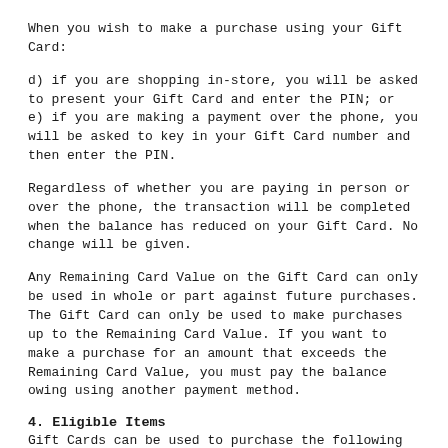When you wish to make a purchase using your Gift Card:
d) if you are shopping in-store, you will be asked to present your Gift Card and enter the PIN; or
e) if you are making a payment over the phone, you will be asked to key in your Gift Card number and then enter the PIN.
Regardless of whether you are paying in person or over the phone, the transaction will be completed when the balance has reduced on your Gift Card. No change will be given.
Any Remaining Card Value on the Gift Card can only be used in whole or part against future purchases. The Gift Card can only be used to make purchases up to the Remaining Card Value. If you want to make a purchase for an amount that exceeds the Remaining Card Value, you must pay the balance owing using another payment method.
4. Eligible Items
Gift Cards can be used to purchase the following products and services from RAA (subject to the other clauses of these Terms and Conditions, including clause 3 above):